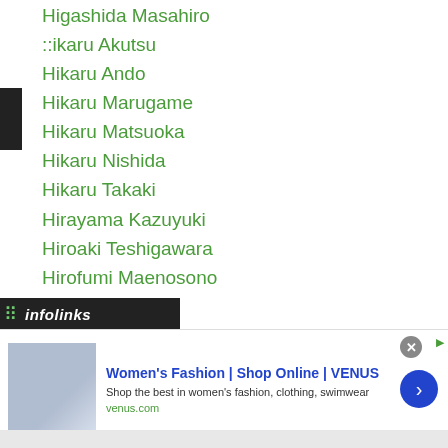Higashida Masahiro
:::karu Akutsu
Hikaru Ando
Hikaru Marugame
Hikaru Matsuoka
Hikaru Nishida
Hikaru Takaki
Hirayama Kazuyuki
Hiroaki Teshigawara
Hirofumi Maenosono
Hirofumi Mukai
Hirohito Fukuhara
Hirokazu Okajima
Hiroki Ashizawa
Hiroki Imamura
Hiroki Okada
[Figure (screenshot): Advertisement overlay: Women's Fashion | Shop Online | VENUS - Shop the best in women's fashion, clothing, swimwear - venus.com]